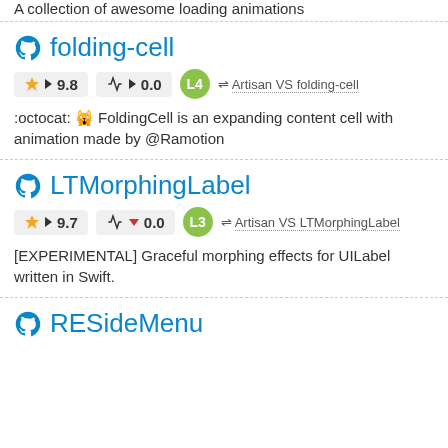A collection of awesome loading animations
folding-cell
★ 9.8   ♥ 0.0   L4   ⇌ Artisan VS folding-cell
:octocat: 🙀 FoldingCell is an expanding content cell with animation made by @Ramotion
LTMorphingLabel
★ 9.7   ♥ 0.0   L3   ⇌ Artisan VS LTMorphingLabel
[EXPERIMENTAL] Graceful morphing effects for UILabel written in Swift.
RESideMenu